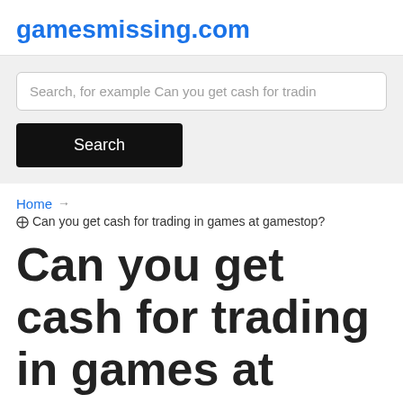gamesmissing.com
Search, for example Can you get cash for tradin
Search
Home → ❑ Can you get cash for trading in games at gamestop?
Can you get cash for trading in games at gamestop?